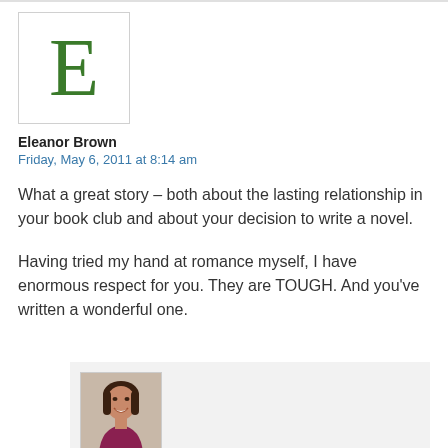[Figure (illustration): Large green letter E avatar in a white bordered box]
Eleanor Brown
Friday, May 6, 2011 at 8:14 am
What a great story – both about the lasting relationship in your book club and about your decision to write a novel.
Having tried my hand at romance myself, I have enormous respect for you. They are TOUGH. And you've written a wonderful one.
[Figure (photo): Small square photo of a smiling woman with dark hair, wearing a purple top, on a light background]